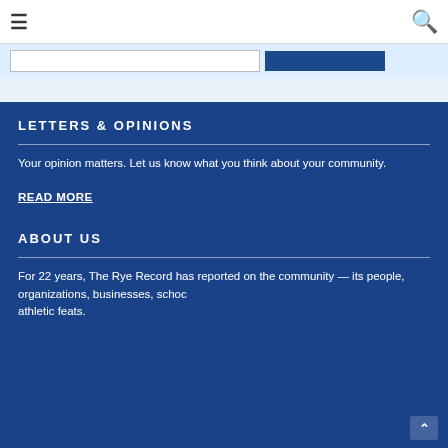≡   🔍
LETTERS & OPINIONS
Your opinion matters. Let us know what you think about your community.
READ MORE
ABOUT US
For 22 years, The Rye Record has reported on the community — its people, organizations, businesses, schoc athletic feats.